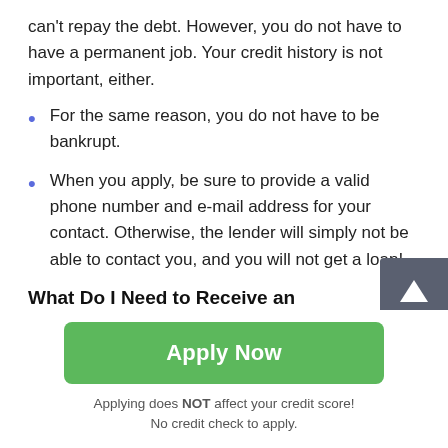can't repay the debt. However, you do not have to have a permanent job. Your credit history is not important, either.
For the same reason, you do not have to be bankrupt.
When you apply, be sure to provide a valid phone number and e-mail address for your contact. Otherwise, the lender will simply not be able to contact you, and you will not get a loan!
What Do I Need to Receive an Instalment Loan in Franklin of West Virginia?
If you intend to receive online installment loans Franklin in
Apply Now
Applying does NOT affect your credit score!
No credit check to apply.